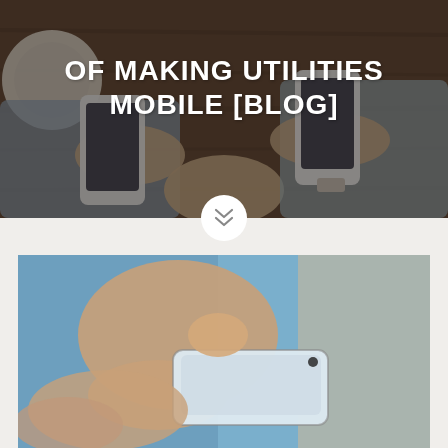[Figure (photo): Overhead view of people at a wooden table holding smartphones, with a coffee cup visible at top left. Dark overlay on the image.]
OF MAKING UTILITIES MOBILE [BLOG]
[Figure (photo): Close-up of a person's hands using a white smartphone, with blurred background of blue and beige tones.]